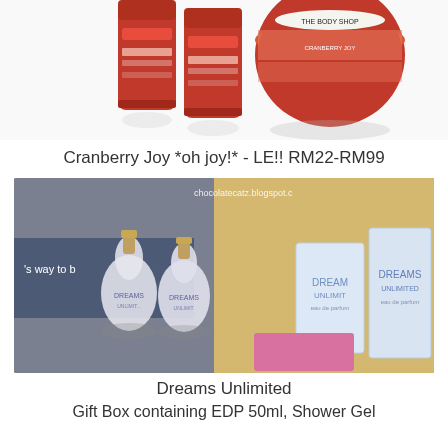[Figure (photo): The Body Shop Cranberry Joy products: two red bottles and a round body butter tin on a white background]
Cranberry Joy *oh joy!* - LE!! RM22-RM99
[Figure (photo): Dreams Unlimited perfume bottles and gift boxes displayed on a table, with watermark chocolatecatz.blogspot.c]
Dreams Unlimited
Gift Box containing EDP 50ml, Shower Gel